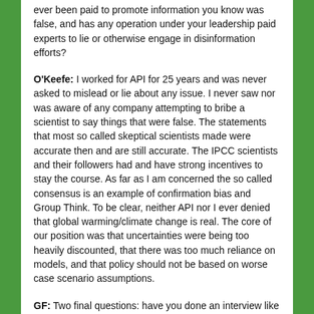ever been paid to promote information you know was false, and has any operation under your leadership paid experts to lie or otherwise engage in disinformation efforts?
O'Keefe: I worked for API for 25 years and was never asked to mislead or lie about any issue. I never saw nor was aware of any company attempting to bribe a scientist to say things that were false. The statements that most so called skeptical scientists made were accurate then and are still accurate. The IPCC scientists and their followers had and have strong incentives to stay the course. As far as I am concerned the so called consensus is an example of confirmation bias and Group Think. To be clear, neither API nor I ever denied that global warming/climate change is real. The core of our position was that uncertainties were being too heavily discounted, that there was too much reliance on models, and that policy should not be based on worse case scenario assumptions.
GF: Two final questions: have you done an interview like